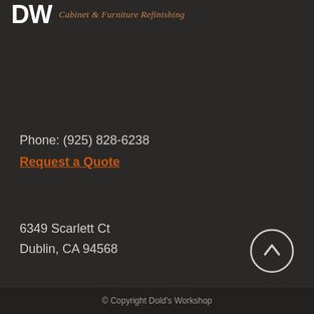[Figure (logo): DW logo with tagline 'Cabinet & Furniture Refinishing' in italic orange text]
Phone: (925) 828-6238
Request a Quote
6349 Scarlett Ct
Dublin, CA 94568
[Figure (illustration): Circle button with upward arrow icon for scroll to top]
© Copyright Dold's Workshop